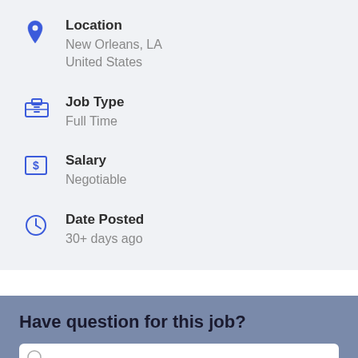Location: New Orleans, LA United States
Job Type: Full Time
Salary: Negotiable
Date Posted: 30+ days ago
Have question for this job?